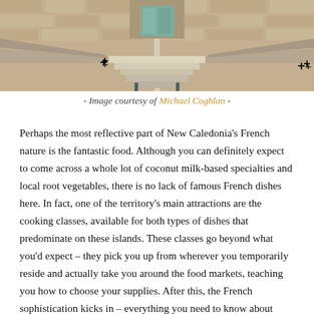[Figure (photo): Photograph of a stone building with symmetrical staircases and railings leading up to an entrance with a teal/green door, taken from a low angle showing the steps and stone wall facade. Plus (+) markers visible on the image indicating interactive hotspots.]
- Image courtesy of Michael Coghlan -
Perhaps the most reflective part of New Caledonia's French nature is the fantastic food. Although you can definitely expect to come across a whole lot of coconut milk-based specialties and local root vegetables, there is no lack of famous French dishes here. In fact, one of the territory's main attractions are the cooking classes, available for both types of dishes that predominate on these islands. These classes go beyond what you'd expect – they pick you up from wherever you temporarily reside and actually take you around the food markets, teaching you how to choose your supplies. After this, the French sophistication kicks in – everything you need to know about New Caledonia's food is taught in top-notch kitchens